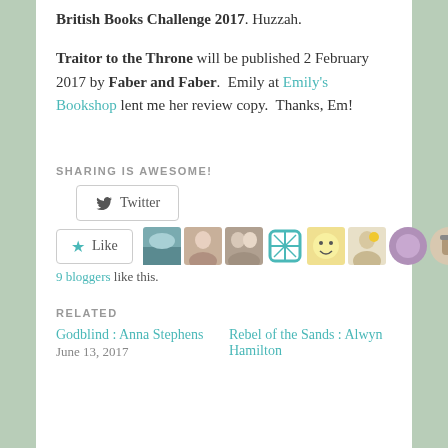British Books Challenge 2017. Huzzah.
Traitor to the Throne will be published 2 February 2017 by Faber and Faber. Emily at Emily's Bookshop lent me her review copy. Thanks, Em!
SHARING IS AWESOME!
[Figure (other): Twitter share button and Like button with 9 blogger avatar thumbnails]
9 bloggers like this.
RELATED
Godblind : Anna Stephens
June 13, 2017
Rebel of the Sands : Alwyn Hamilton